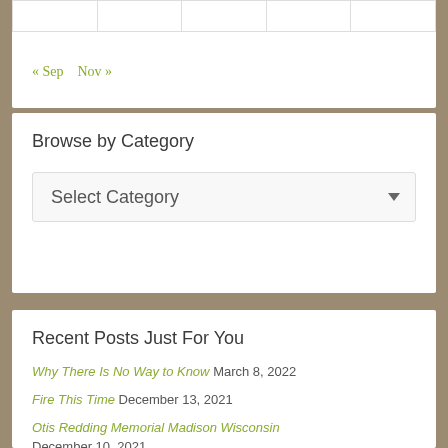|   |   |   |   |   |
« Sep   Nov »
Browse by Category
Select Category
Recent Posts Just For You
Why There Is No Way to Know  March 8, 2022
Fire This Time  December 13, 2021
Otis Redding Memorial Madison Wisconsin  December 10, 2021